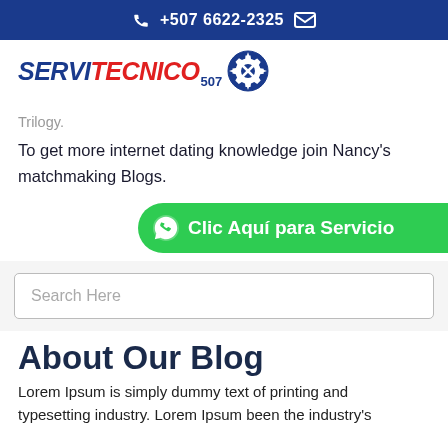☎ +507 6622-2325  ✉
[Figure (logo): SERVITECNICO 507 logo with gear icon]
Trilogy.
To get more internet dating knowledge join Nancy's matchmaking Blogs.
[Figure (other): Green WhatsApp CTA button: Clic Aquí para Servicio]
Search Here
About Our Blog
Lorem Ipsum is simply dummy text of printing and typesetting industry. Lorem Ipsum been the industry's